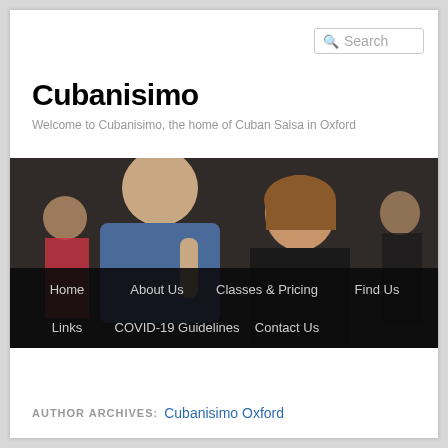Search
Cubanisimo
Welcome to Cubanisimo, the home of Cuban Salsa in Oxford
[Figure (photo): People dancing Cuban Salsa, showing a bald man in a blue shirt and a smiling woman in black, with other dancers in the background]
Home
About Us
Classes & Pricing
Find Us
Links
COVID-19 Guidelines
Contact Us
AUTHOR ARCHIVES: Cubanisimo Oxford